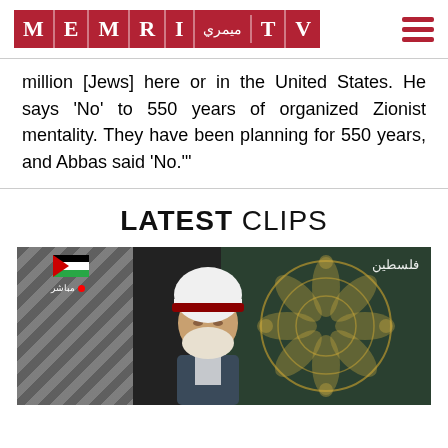MEMRI TV logo and hamburger menu
million [Jews] here or in the United States. He says 'No' to 550 years of organized Zionist mentality. They have been planning for 550 years, and Abbas said 'No.'"
LATEST CLIPS
[Figure (photo): Video still from Palestinian TV showing a Muslim cleric in white turban and red band seated in front of decorative dark green and gold patterned background, with Palestinian flag watermark and Arabic text overlay.]